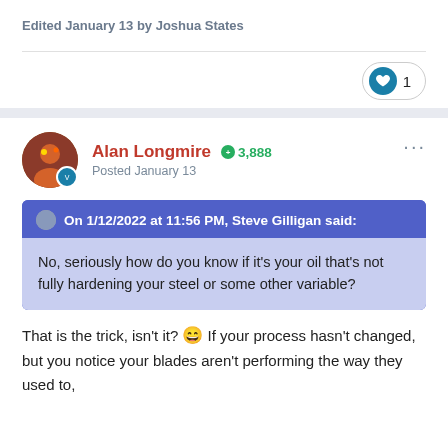Edited January 13 by Joshua States
♥ 1
Alan Longmire  ⊕3,888
Posted January 13
On 1/12/2022 at 11:56 PM, Steve Gilligan said:
No, seriously how do you know if it's your oil that's not fully hardening your steel or some other variable?
That is the trick, isn't it? 😄 If your process hasn't changed, but you notice your blades aren't performing the way they used to,